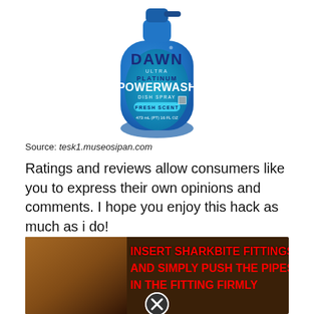[Figure (photo): Dawn Ultra Platinum Powerwash Dish Spray Fresh Scent 473mL (PT) 16 FL OZ blue bottle product photo]
Source: tesk1.museosipan.com
Ratings and reviews allow consumers like you to express their own opinions and comments. I hope you enjoy this hack as much as i do!
[Figure (photo): Banner image with text: INSERT SHARKBITE FITTINGS AND SIMPLY PUSH THE PIPES IN THE FITTING FIRMLY, with a close/X button overlay, on a dark background with pipes]